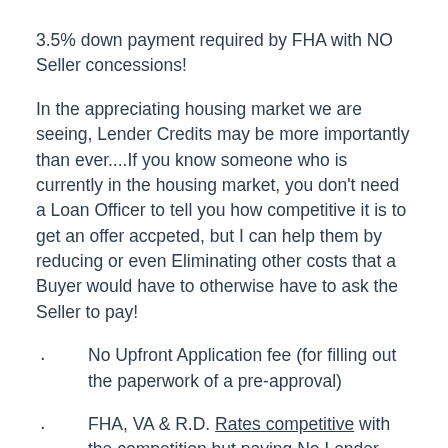3.5% down payment required by FHA with NO Seller concessions!
In the appreciating housing market we are seeing, Lender Credits may be more importantly than ever....If you know someone who is currently in the housing market, you don't need a Loan Officer to tell you how competitive it is to get an offer accpeted, but I can help them by reducing or even Eliminating other costs that a Buyer would have to otherwise have to ask the Seller to pay!
No Upfront Application fee (for filling out the paperwork of a pre-approval)
FHA, VA & R.D. Rates competitive with the competition but paying No Lender Charges, but paying "LENDER CREDITS!" Our "Lender Credits" just that, true